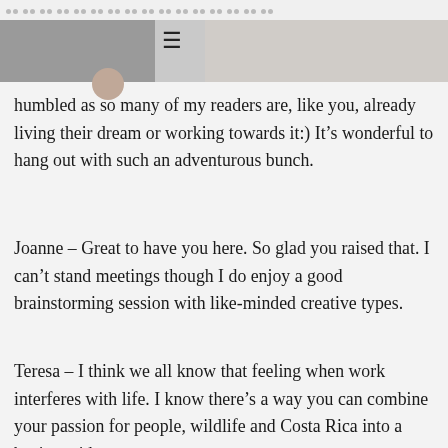[Figure (screenshot): Top navigation bar with dot pattern, hamburger menu icon, and photo strip header of a blog/website]
humbled as so many of my readers are, like you, already living their dream or working towards it:) It’s wonderful to hang out with such an adventurous bunch.
Joanne – Great to have you here. So glad you raised that. I can’t stand meetings though I do enjoy a good brainstorming session with like-minded creative types.
Teresa – I think we all know that feeling when work interferes with life. I know there’s a way you can combine your passion for people, wildlife and Costa Rica into a business idea.